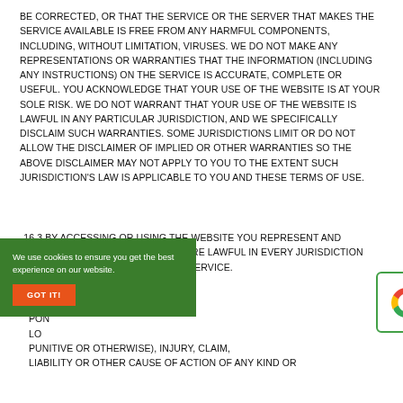BE CORRECTED, OR THAT THE SERVICE OR THE SERVER THAT MAKES THE SERVICE AVAILABLE IS FREE FROM ANY HARMFUL COMPONENTS, INCLUDING, WITHOUT LIMITATION, VIRUSES. WE DO NOT MAKE ANY REPRESENTATIONS OR WARRANTIES THAT THE INFORMATION (INCLUDING ANY INSTRUCTIONS) ON THE SERVICE IS ACCURATE, COMPLETE OR USEFUL. YOU ACKNOWLEDGE THAT YOUR USE OF THE WEBSITE IS AT YOUR SOLE RISK. WE DO NOT WARRANT THAT YOUR USE OF THE WEBSITE IS LAWFUL IN ANY PARTICULAR JURISDICTION, AND WE SPECIFICALLY DISCLAIM SUCH WARRANTIES. SOME JURISDICTIONS LIMIT OR DO NOT ALLOW THE DISCLAIMER OF IMPLIED OR OTHER WARRANTIES SO THE ABOVE DISCLAIMER MAY NOT APPLY TO YOU TO THE EXTENT SUCH JURISDICTION'S LAW IS APPLICABLE TO YOU AND THESE TERMS OF USE.
16.3 BY ACCESSING OR USING THE WEBSITE YOU REPRESENT AND WARRANT THAT YOUR ACTIVITIES ARE LAWFUL IN EVERY JURISDICTION WHERE YOU ACCESS OR USE THE SERVICE.
...DO ...PON ...LO ...PUNITIVE OR OTHERWISE), INJURY, CLAIM, LIABILITY OR OTHER CAUSE OF ACTION OF ANY KIND OR
[Figure (other): Cookie consent banner with green background, text 'We use cookies to ensure you get the best experience on our website.' and an orange 'GOT IT!' button]
[Figure (other): Google Rating widget showing 4.9 stars out of 5 with the Google G logo]